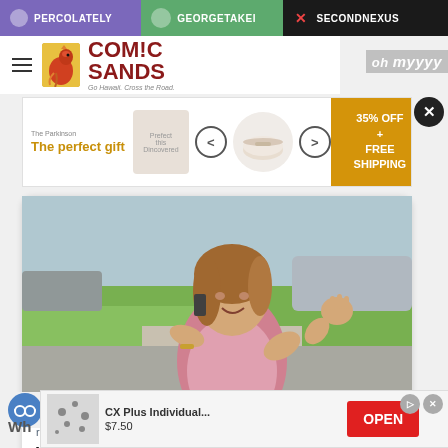PERCOLATELY  GEORGETAKEI  SECONDNEXUS
[Figure (logo): Comic Sands website logo with rooster illustration and text 'COMIC SANDS']
[Figure (infographic): Advertisement banner: 'The perfect gift' with rice cooker image, 35% OFF + FREE SHIPPING offer]
[Figure (photo): Photo of a white woman on a phone call outdoors, wearing a pink vest, gesturing with her hand, with grass and a car in the background]
rawstory.com
Virginia food bank employee fired after telling Black neighbor 'You're not the right color'
Sally
[Figure (infographic): Bottom advertisement: CX Plus Individual... $7.50 with OPEN button]